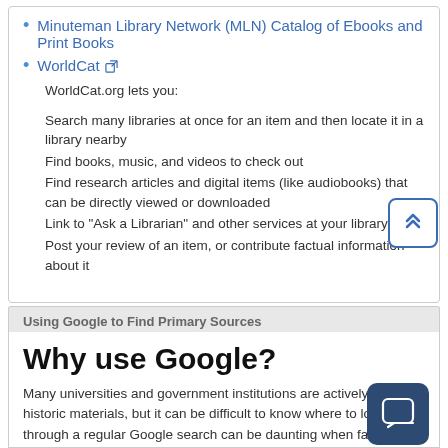Minuteman Library Network (MLN) Catalog of Ebooks and Print Books
WorldCat (external link)
WorldCat.org lets you:
Search many libraries at once for an item and then locate it in a library nearby
Find books, music, and videos to check out
Find research articles and digital items (like audiobooks) that can be directly viewed or downloaded
Link to "Ask a Librarian" and other services at your library
Post your review of an item, or contribute factual information about it
Using Google to Find Primary Sources
Why use Google?
Many universities and government institutions are actively digitalizing historic materials, but it can be difficult to know where to look. Filtering through a regular Google search can be daunting when faced with results